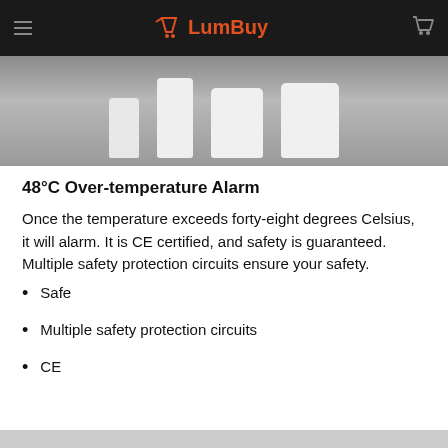[Figure (logo): LumBuy e-commerce website header with dark background, hamburger menu, LumBuy logo in orange/red, and cart icon]
[Figure (photo): Photo of white product bottles/containers on a gray surface]
48°C Over-temperature Alarm
Once the temperature exceeds forty-eight degrees Celsius, it will alarm. It is CE certified, and safety is guaranteed.
Multiple safety protection circuits ensure your safety.
Safe
Multiple safety protection circuits
CE